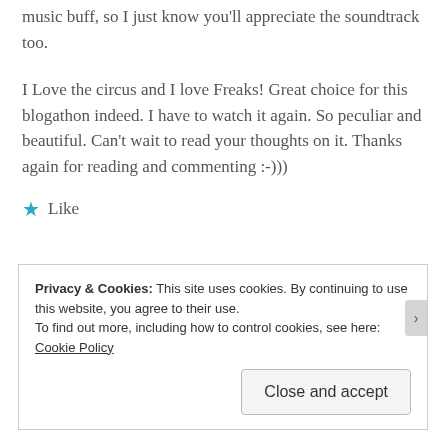music buff, so I just know you'll appreciate the soundtrack too.
I Love the circus and I love Freaks! Great choice for this blogathon indeed. I have to watch it again. So peculiar and beautiful. Can't wait to read your thoughts on it. Thanks again for reading and commenting :-)))
★ Like
Privacy & Cookies: This site uses cookies. By continuing to use this website, you agree to their use.
To find out more, including how to control cookies, see here: Cookie Policy
Close and accept